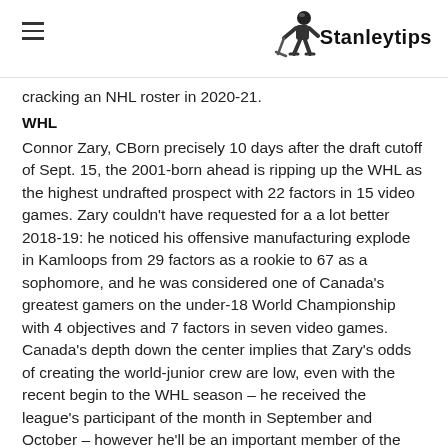≡  Stanleytips
cracking an NHL roster in 2020-21.
WHL
Connor Zary, CBorn precisely 10 days after the draft cutoff of Sept. 15, the 2001-born ahead is ripping up the WHL as the highest undrafted prospect with 22 factors in 15 video games. Zary couldn't have requested for a a lot better 2018-19: he noticed his offensive manufacturing explode in Kamloops from 29 factors as a rookie to 67 as a sophomore, and he was considered one of Canada's greatest gamers on the under-18 World Championship with 4 objectives and 7 factors in seven video games. Canada's depth down the center implies that Zary's odds of creating the world-junior crew are low, even with the recent begin to the WHL season – he received the league's participant of the month in September and October – however he'll be an important member of the crew's 2021 efforts. In truth, Zary has the general ability with the puck, primarily as a playmaker, to be a 50-point heart within the NHL sometime.